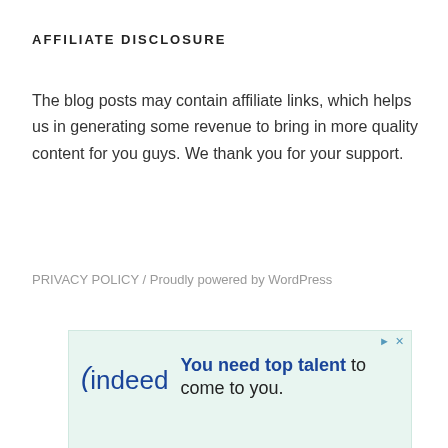AFFILIATE DISCLOSURE
The blog posts may contain affiliate links, which helps us in generating some revenue to bring in more quality content for you guys. We thank you for your support.
PRIVACY POLICY / Proudly powered by WordPress
[Figure (other): An advertisement banner for Indeed with the tagline 'You need top talent to come to you.' on a light green/teal background.]